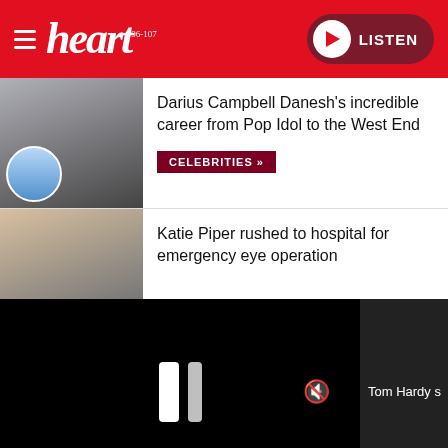heart 96-107 | LISTEN
Darius Campbell Danesh's incredible career from Pop Idol to the West End
CELEBRITIES »
Katie Piper rushed to hospital for emergency eye operation
[Figure (screenshot): Video player overlay with pause button and mute icon, showing partial text 'Tom Hardy s']
Tom Hardy s